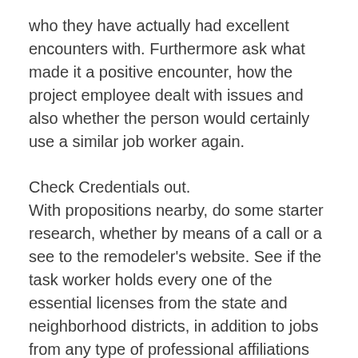who they have actually had excellent encounters with. Furthermore ask what made it a positive encounter, how the project employee dealt with issues and also whether the person would certainly use a similar job worker again.
Check Credentials out.
With propositions nearby, do some starter research, whether by means of a call or a see to the remodeler's website. See if the task worker holds every one of the essential licenses from the state and neighborhood districts, in addition to jobs from any type of professional affiliations like the National Kitchen Area as well as Bathroom Association (NKBA), the National Association of the Remodeling Market (NARI) or the National